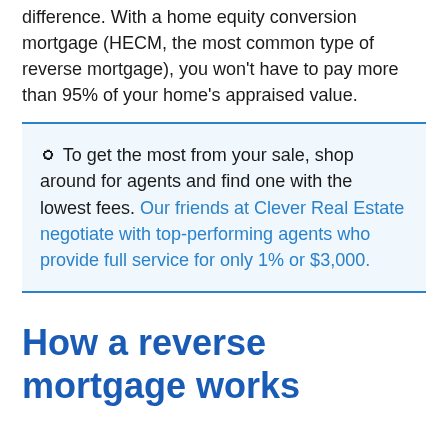difference. With a home equity conversion mortgage (HECM, the most common type of reverse mortgage), you won't have to pay more than 95% of your home's appraised value.
🔵 To get the most from your sale, shop around for agents and find one with the lowest fees. Our friends at Clever Real Estate negotiate with top-performing agents who provide full service for only 1% or $3,000.
How a reverse mortgage works